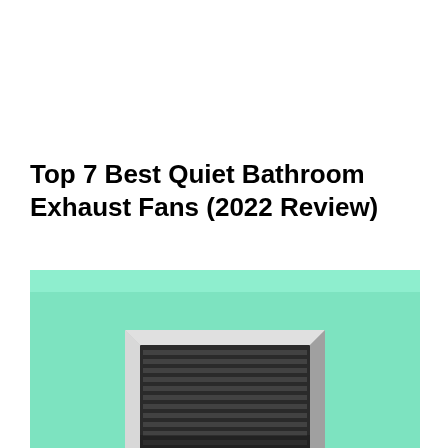Top 7 Best Quiet Bathroom Exhaust Fans (2022 Review)
[Figure (photo): Close-up photo of a bathroom exhaust fan mounted on a mint green wall. The fan has a rectangular silver/chrome frame with horizontal dark gray louver slats visible inside.]